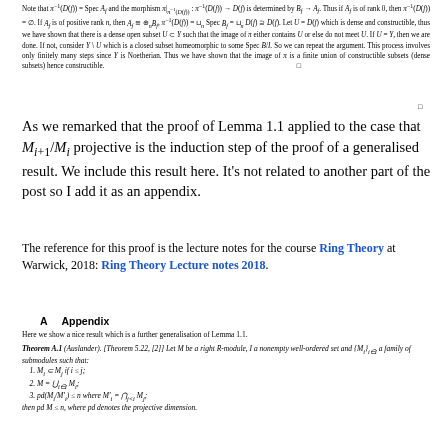Note that π⁻¹(D(f)) = Spec A_f and the morphism π|_{π⁻¹(D(f))} : π⁻¹(D(f)) → D(f) is determined by B_f → A_f. Thus if A_f is of rank 0, then π⁻¹(D(f)) = ∅. If A_f is of positive rank n, then A_f ≅ ⊕_n B_f, π⁻¹(D(f)) = ⊔_n Spec B_f = ⊔_n D(f) ⊇ D(f). Let U = D(f) which is dense and constructible, thus we have shown that there is a dense open subset U ⊂ Y such that the image of π either contains U or else do not meet U. If U = Y, then we are done. If not, consider Y \ U which is a closed subset homeomorphic to some Spec B/I. So we can repeat the argument. This process involves only finitely many steps since Y is Noetherian. Thus we have shown that the image of π is a finite union of constructible subsets (dense subsets) hence constructible. □
□
As we remarked that the proof of Lemma 1.1 applied to the case that M_{i+1}/M_i projective is the induction step of the proof of a generalised result. We include this result here. It's not related to another part of the post so I add it as an appendix.
The reference for this proof is the lecture notes for the course Ring Theory at Warwick, 2018: Ring Theory Lecture notes 2018.
A   Appendix
Here we show a nice result which is a further generalisation of Lemma 1.1.
Theorem A.1 (Auslander). [Theorem 5.22, [2]] Let M be a right R-module, I a nonempty well-ordered set and {M_i}_{i∈I} a family of submodules such that:
1. M_i ⊂ M_j if i ≤ j;
2. M = ⋃_{i∈I} M_i;
3. pd(M_i/M'_i) ≤ n where M'_i = ⋂_{j<i} M_j;
then pd M ≤ n, where pd denotes the projective dimension.